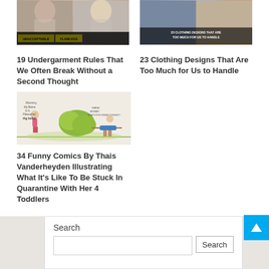[Figure (photo): Thumbnail image showing two women side by side with yellow labels 'UNACCEPTABLE' and 'FLAWLESS']
19 Undergarment Rules That We Often Break Without a Second Thought
[Figure (photo): Thumbnail image showing clothing designs with overlay text '23 CLOTHING DESIGNS THAT ARE TOO MUCH FOR US TO HANDLE']
23 Clothing Designs That Are Too Much for Us to Handle
[Figure (illustration): Comic illustration by Thais Vanderheyden showing cartoon characters in a garden/outdoor scene]
34 Funny Comics By Thais Vanderheyden Illustrating What It’s Like To Be Stuck In Quarantine With Her 4 Toddlers
Search